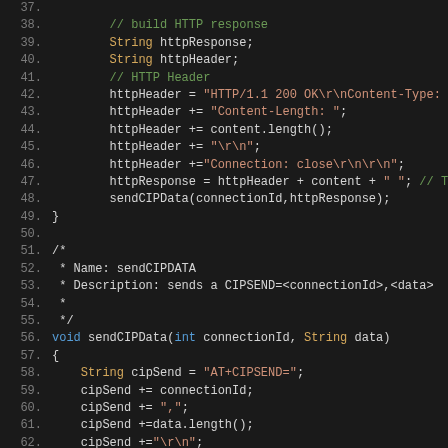[Figure (screenshot): Source code editor screenshot showing Java/C++ code lines 37-62, dark theme. Code includes HTTP response building logic and sendCIPData function definition with string operations using orange string literals and green comments.]